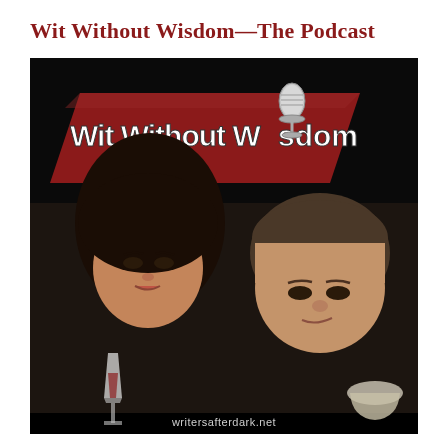Wit Without Wisdom—The Podcast
[Figure (photo): Podcast cover image for 'Wit Without Wisdom'. Black background with a tilted red banner logo reading 'Wit Without Wisdom' with a microphone graphic. Below are two people: a woman with dark hair holding a wine glass on the left, and a man on the right. Website 'writersafterdark.net' appears at the bottom.]